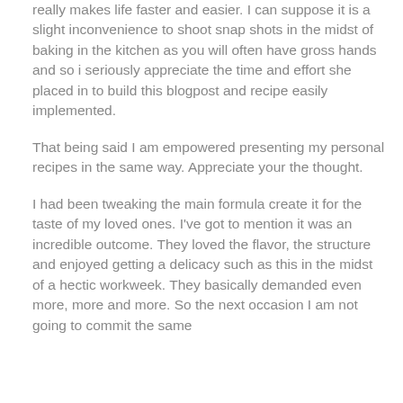really makes life faster and easier. I can suppose it is a slight inconvenience to shoot snap shots in the midst of baking in the kitchen as you will often have gross hands and so i seriously appreciate the time and effort she placed in to build this blogpost and recipe easily implemented.
That being said I am empowered presenting my personal recipes in the same way. Appreciate your the thought.
I had been tweaking the main formula create it for the taste of my loved ones. I've got to mention it was an incredible outcome. They loved the flavor, the structure and enjoyed getting a delicacy such as this in the midst of a hectic workweek. They basically demanded even more, more and more. So the next occasion I am not going to commit the same